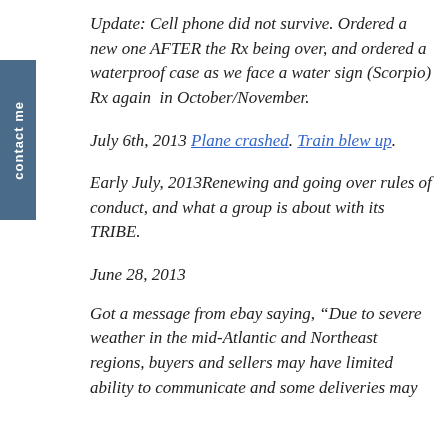Update: Cell phone did not survive. Ordered a new one AFTER the Rx being over, and ordered a waterproof case as we face a water sign (Scorpio) Rx again in October/November.
July 6th, 2013 Plane crashed. Train blew up.
Early July, 2013Renewing and going over rules of conduct, and what a group is about with its TRIBE.
June 28, 2013
Got a message from ebay saying, “Due to severe weather in the mid-Atlantic and Northeast regions, buyers and sellers may have limited ability to communicate and some deliveries may